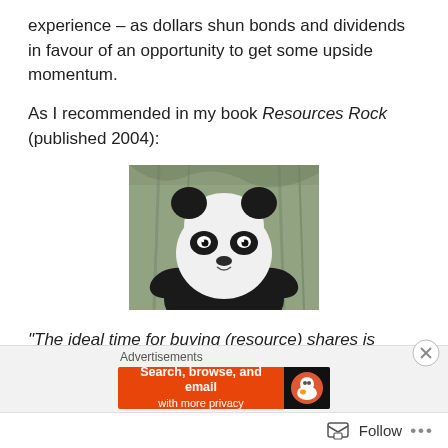experience – as dollars shun bonds and dividends in favour of an opportunity to get some upside momentum.
As I recommended in my book Resources Rock (published 2004):
[Figure (photo): A giant panda bear sitting among bamboo, looking toward the camera, black and white coloring.]
“The ideal time for buying (resource) shares is before all of the above factors are in place – before commodity prices are strong; before revenues are rising steadily; before the...